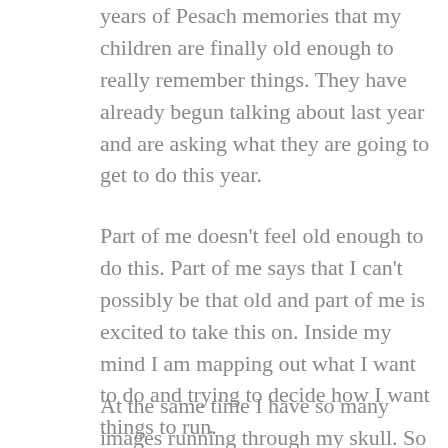years of Pesach memories that my children are finally old enough to really remember things. They have already begun talking about last year and are asking what they are going to get to do this year.
Part of me doesn't feel old enough to do this. Part of me says that I can't possibly be that old and part of me is excited to take this on. Inside my mind I am mapping out what I want to do and trying to decide how I want things to run.
At the same time I have so many images running through my skull. So many memories of past sedarim. A mental scrapbook of things that once were. Great-grandparents, my great-